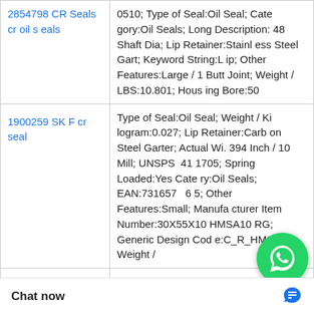| Product | Description |
| --- | --- |
| 2854798 CR Seals cr oil seals | 0510; Type of Seal:Oil Seal; Category:Oil Seals; Long Description: 48 Shaft Dia; Lip Retainer:Stainless Steel Gart; Keyword String:Lip; Other Features:Large / 1 Butt Joint; Weight / LBS:10.801; Housing Bore:50 |
| 1900259 SKF cr seal | Type of Seal:Oil Seal; Weight / Kilogram:0.027; Lip Retainer:Carbon Steel Garter; Actual Width:.394 Inch / 10 Mill; UNSPSC:41 1705; Spring Loaded:Yes; Category:Oil Seals; EAN:73165720...6 5; Other Features:Small; Manufacturer Item Number:30X55X10 HMSA10 RG; Generic Design Code:C_R_HMSA10; Weight / |
| ... | Actual Width:0.75 Inch / 19.05 M...; Weight / Kilogram:2.056; Other...ge / With Inner C; ...r:10.688 Inch / 27 |
[Figure (other): WhatsApp Online chat widget overlay with green circle icon and black label 'WhatsApp Online']
Chat now